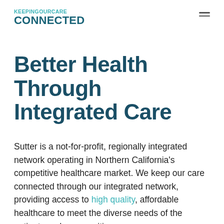KEEPINGOURCARE CONNECTED
Better Health Through Integrated Care
Sutter is a not-for-profit, regionally integrated network operating in Northern California’s competitive healthcare market. We keep our care connected through our integrated network, providing access to high quality, affordable healthcare to meet the diverse needs of the patients and communities we serve.